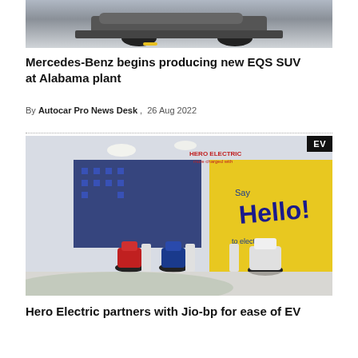[Figure (photo): Partial view of a dark Mercedes-Benz EQS SUV from the front/underside angle in a production or showroom setting]
Mercedes-Benz begins producing new EQS SUV at Alabama plant
By Autocar Pro News Desk , 26 Aug 2022
[Figure (photo): Hero Electric showroom interior with multiple electric scooters on display, yellow 'Say Hello to electric' banner on the wall, and an EV badge in the top-right corner]
Hero Electric partners with Jio-bp for ease of EV